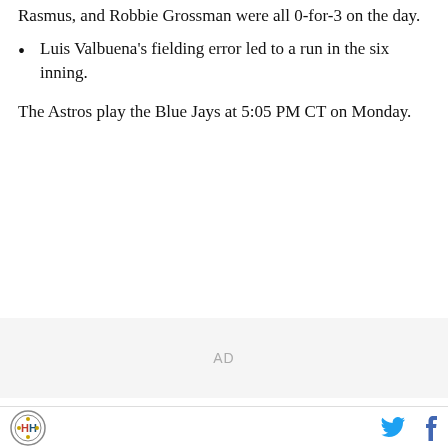Rasmus, and Robbie Grossman were all 0-for-3 on the day.
Luis Valbuena's fielding error led to a run in the six inning.
The Astros play the Blue Jays at 5:05 PM CT on Monday.
[Figure (other): AD placeholder area with gray background]
Site logo icon and social media icons (Twitter, Facebook)